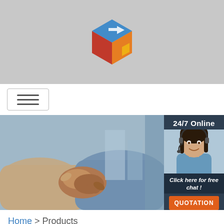[Figure (logo): 3D colorful cube logo in red, yellow, orange, and blue]
[Figure (illustration): Hamburger menu icon button]
[Figure (photo): Two people shaking hands, business partnership image]
[Figure (photo): 24/7 Online chat widget with woman wearing headset, 'Click here for free chat!' text and orange QUOTATION button]
Home > Products
affordable advertising display screen bar